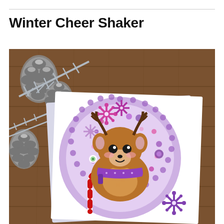Winter Cheer Shaker
[Figure (photo): A handmade winter shaker card featuring a cute cartoon deer/reindeer in the center of a circular window with purple polka-dot border. The card is white and sits on a wooden background surrounded by frosted pine cones and silver pine branches. The shaker window contains sequins, buttons, and confetti. Decorative snowflakes in pink and purple adorn the card, along with a candy cane. The deer is brown with antlers and wearing a purple scarf.]